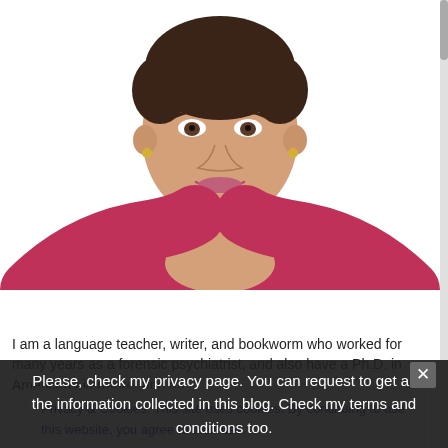[Figure (photo): Portrait photo of a woman with short dark hair, wearing a magenta/raspberry top, smiling, with hands clasped under her chin, on a white background.]
olganm
I am a language teacher, writer, and bookworm who worked for many years as a forensic psychiatrist, and also have a Ph.D. in American Literature, and an
Privacy & Cookies: This site uses cookies. By continuing to use this website, you agree to their use.
To find out more, including how to control cookies, see here: Cookie Policy
Please, check my privacy page. You can request to get all the information collected in this blog. Check my terms and conditions too.
me. Us for over twenty-five years. Have returned home, to Barcelona. Spain.